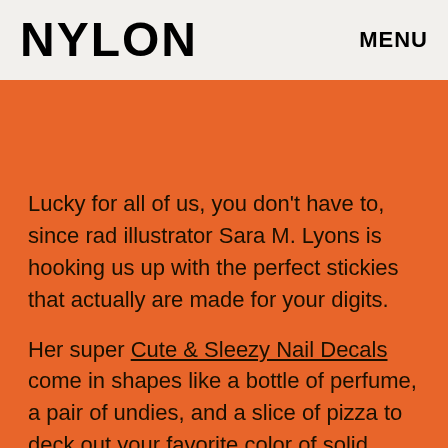NYLON   MENU
[Figure (other): Orange decorative band / image placeholder area]
Lucky for all of us, you don't have to, since rad illustrator Sara M. Lyons is hooking us up with the perfect stickies that actually are made for your digits.
Her super Cute & Sleezy Nail Decals come in shapes like a bottle of perfume, a pair of undies, and a slice of pizza to deck out your favorite color of solid